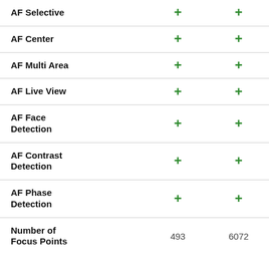| Feature | Value 1 | Value 2 |
| --- | --- | --- |
| AF Selective | + | + |
| AF Center | + | + |
| AF Multi Area | + | + |
| AF Live View | + | + |
| AF Face Detection | + | + |
| AF Contrast Detection | + | + |
| AF Phase Detection | + | + |
| Number of Focus Points | 493 | 6072 |